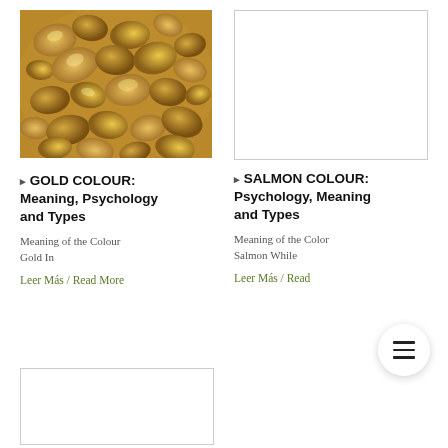[Figure (photo): Photo of gold nuggets/rocks with golden-brown color]
🔶 GOLD COLOUR: Meaning, Psychology and Types
Meaning of the Colour Gold In
Leer Más / Read More
[Figure (photo): Placeholder white image for salmon colour article]
🔶 SALMON COLOUR: Psychology, Meaning and Types
Meaning of the Color Salmon While
Leer Más / Read
[Figure (photo): Placeholder white image at bottom left]
[Figure (photo): Placeholder white image at bottom right]